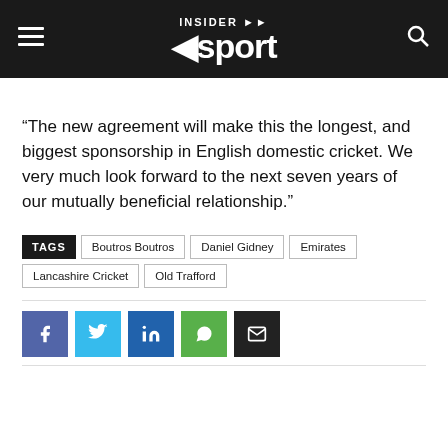INSIDER sport
“The new agreement will make this the longest, and biggest sponsorship in English domestic cricket. We very much look forward to the next seven years of our mutually beneficial relationship.”
TAGS: Boutros Boutros | Daniel Gidney | Emirates | Lancashire Cricket | Old Trafford
[Figure (other): Social media share buttons: Facebook, Twitter, LinkedIn, WhatsApp, Email]